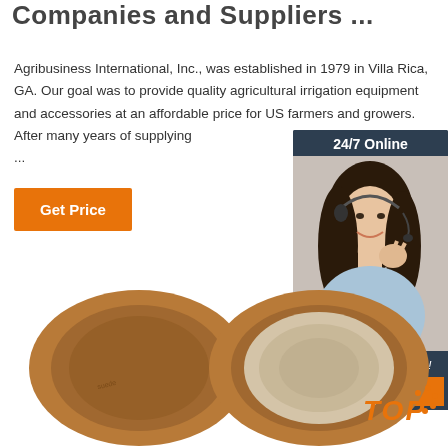Companies and Suppliers ...
Agribusiness International, Inc., was established in 1979 in Villa Rica, GA. Our goal was to provide quality agricultural irrigation equipment and accessories at an affordable price for US farmers and growers. After many years of supplying ...
Get Price
[Figure (photo): Sidebar advertisement with a woman wearing a headset, '24/7 Online' header, 'Click here for free chat!' text, and QUOTATION orange button]
[Figure (photo): Two views of a round brown suede/leather hat — one showing the top (exterior) and one showing the interior lining]